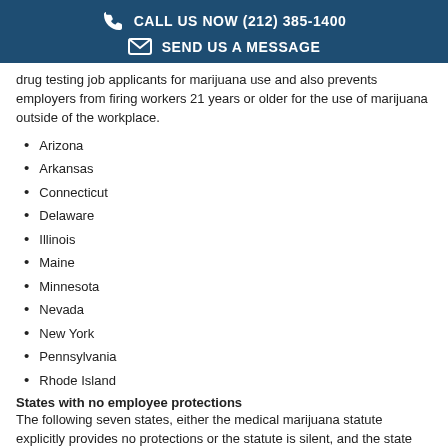CALL US NOW (212) 385-1400 | SEND US A MESSAGE
drug testing job applicants for marijuana use and also prevents employers from firing workers 21 years or older for the use of marijuana outside of the workplace.
Arizona
Arkansas
Connecticut
Delaware
Illinois
Maine
Minnesota
Nevada
New York
Pennsylvania
Rhode Island
States with no employee protections
The following seven states, either the medical marijuana statute explicitly provides no protections or the statute is silent, and the state has case law